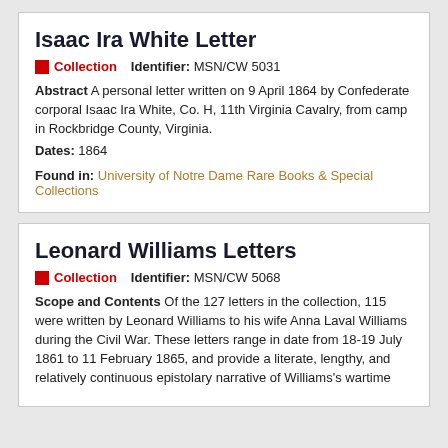Isaac Ira White Letter
Collection   Identifier: MSN/CW 5031
Abstract A personal letter written on 9 April 1864 by Confederate corporal Isaac Ira White, Co. H, 11th Virginia Cavalry, from camp in Rockbridge County, Virginia. Dates: 1864
Found in:  University of Notre Dame Rare Books & Special Collections
Leonard Williams Letters
Collection   Identifier: MSN/CW 5068
Scope and Contents Of the 127 letters in the collection, 115 were written by Leonard Williams to his wife Anna Laval Williams during the Civil War. These letters range in date from 18-19 July 1861 to 11 February 1865, and provide a literate, lengthy, and relatively continuous epistolary narrative of Williams's wartime